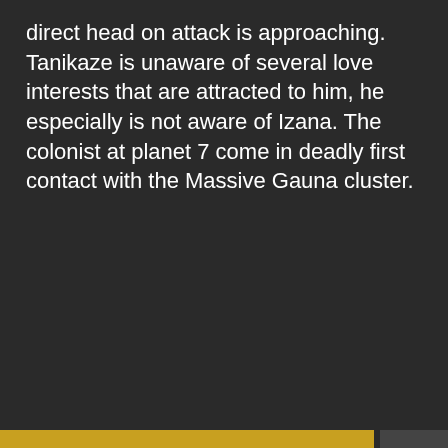direct head on attack is approaching. Tanikaze is unaware of several love interests that are attracted to him, he especially is not aware of Izana. The colonist at planet 7 come in deadly first contact with the Massive Gauna cluster.